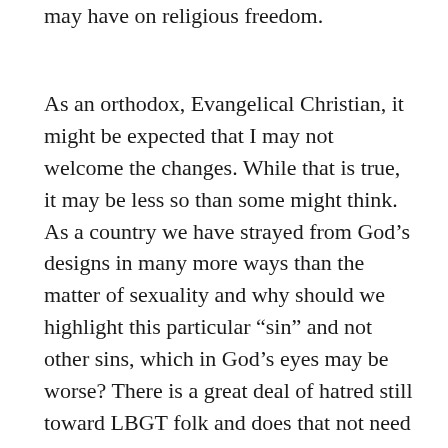may have on religious freedom.
As an orthodox, Evangelical Christian, it might be expected that I may not welcome the changes. While that is true, it may be less so than some might think. As a country we have strayed from God’s designs in many more ways than the matter of sexuality and why should we highlight this particular “sin” and not other sins, which in God’s eyes may be worse? There is a great deal of hatred still toward LBGT folk and does that not need to be addressed? Would it not be churlish to deny same sex couples the